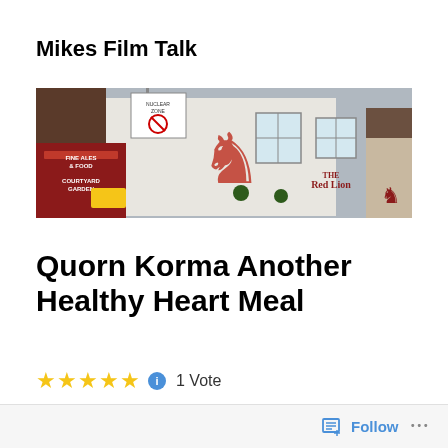Mikes Film Talk
[Figure (photo): Exterior of the Red Lion pub showing signage for Fine Ales & Food, Courtyard Garden, a red lion rampant painted on white wall, and building facade]
Quorn Korma Another Healthy Heart Meal
1 Vote
Follow